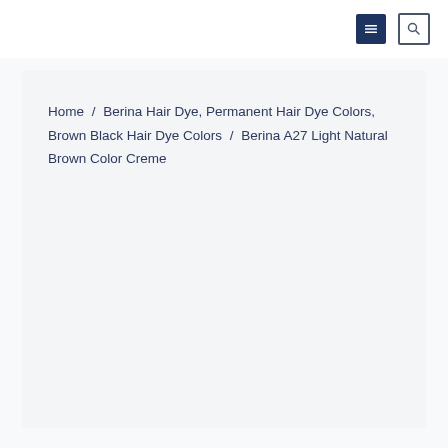Home / Berina Hair Dye, Permanent Hair Dye Colors, Brown Black Hair Dye Colors / Berina A27 Light Natural Brown Color Creme